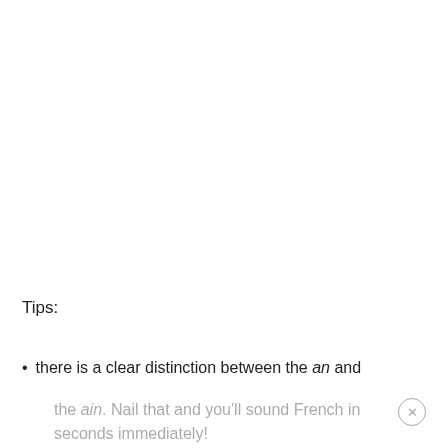Tips:
there is a clear distinction between the an and the ain. Nail that and you'll sound French in seconds immediately!